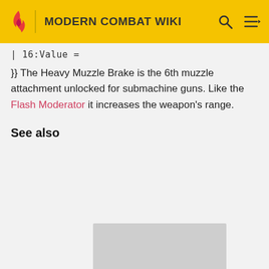MODERN COMBAT WIKI
| 16:Value =
}} The Heavy Muzzle Brake is the 6th muzzle attachment unlocked for submachine guns. Like the Flash Moderator it increases the weapon's range.
See also
[Figure (other): Gray advertisement or image placeholder box]